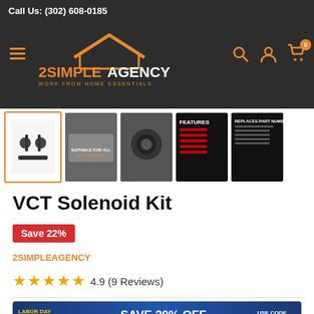Call Us: (302) 608-0185
[Figure (logo): 2SimpleAgency logo with orange roof icon and tagline WORK FROM HOME ESSENTIALS]
[Figure (screenshot): Row of 5 product thumbnail images for VCT Solenoid Kit]
VCT Solenoid Kit
Save 22%
2SIMPLEAGENCY
4.9 (9 Reviews)
[Figure (infographic): Labor Day Sale banner: SAVE 20% OFF and GET FREE SHIPPING, USE CODE LABORDAY]